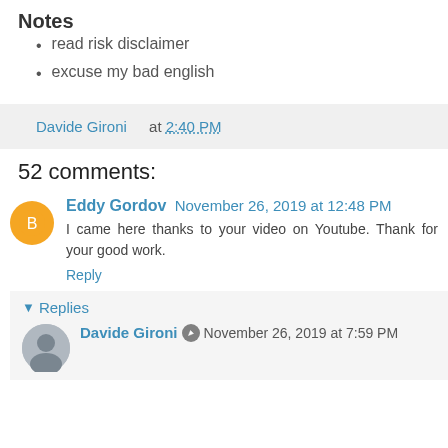Notes
read risk disclaimer
excuse my bad english
Davide Gironi at 2:40 PM
52 comments:
Eddy Gordov November 26, 2019 at 12:48 PM
I came here thanks to your video on Youtube. Thank for your good work.
Reply
Replies
Davide Gironi November 26, 2019 at 7:59 PM